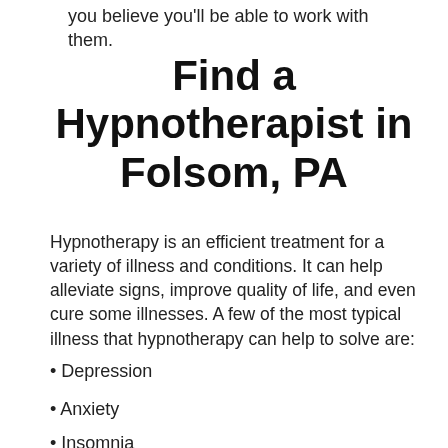you believe you'll be able to work with them.
Find a Hypnotherapist in Folsom, PA
Hypnotherapy is an efficient treatment for a variety of illness and conditions. It can help alleviate signs, improve quality of life, and even cure some illnesses. A few of the most typical illness that hypnotherapy can help to solve are:
Depression
Anxiety
Insomnia